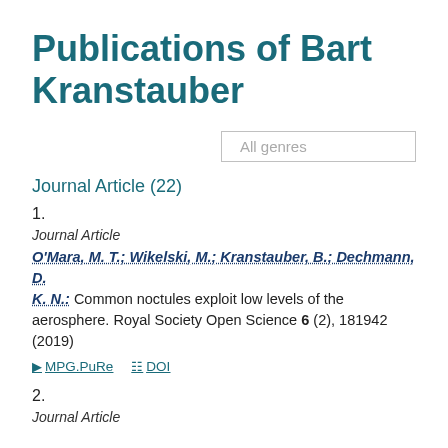Publications of Bart Kranstauber
Journal Article (22)
1.
Journal Article
O'Mara, M. T.; Wikelski, M.; Kranstauber, B.; Dechmann, D. K. N.: Common noctules exploit low levels of the aerosphere. Royal Society Open Science 6 (2), 181942 (2019)
MPG.PuRe   DOI
2.
Journal Article